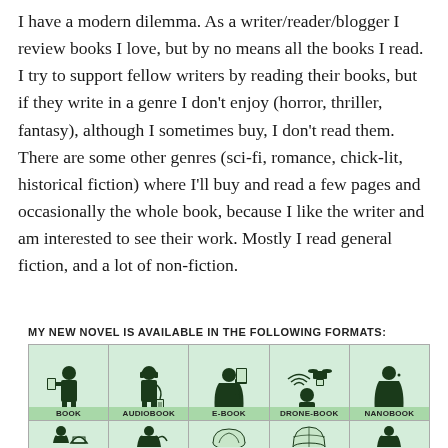I have a modern dilemma. As a writer/reader/blogger I review books I love, but by no means all the books I read. I try to support fellow writers by reading their books, but if they write in a genre I don't enjoy (horror, thriller, fantasy), although I sometimes buy, I don't read them. There are some other genres (sci-fi, romance, chick-lit, historical fiction) where I'll buy and read a few pages and occasionally the whole book, because I like the writer and am interested to see their work. Mostly I read general fiction, and a lot of non-fiction.
MY NEW NOVEL IS AVAILABLE IN THE FOLLOWING FORMATS:
[Figure (illustration): Comic strip showing book formats: BOOK (figure holding a book), AUDIOBOOK (figure with headphones and device), E-BOOK (figure with e-reader device), DRONE-BOOK (figure with drone delivering book), NANOBOOK (figure alone). Bottom row partially visible.]